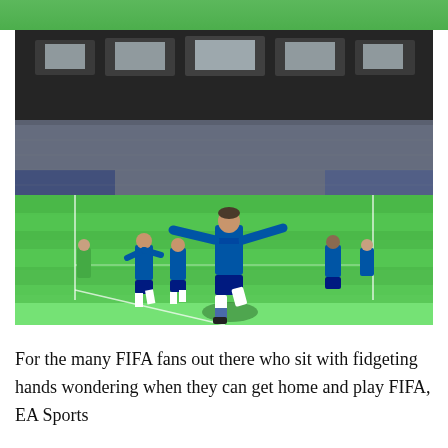[Figure (screenshot): FIFA video game screenshot showing a Chelsea FC player in blue Samsung-sponsored kit celebrating a goal on a virtual football pitch inside a stadium full of crowd spectators. Several other players are visible in the background on the bright green pitch.]
For the many FIFA fans out there who sit with fidgeting  hands wondering when they can get home and play FIFA, EA Sports